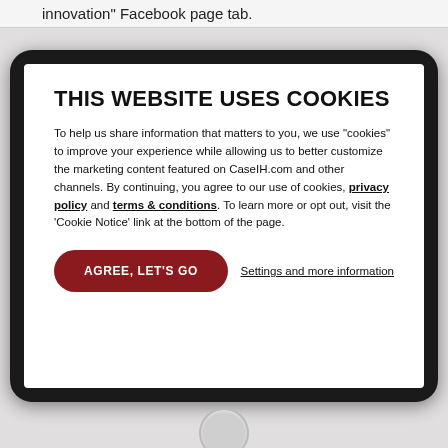innovation” Facebook page tab.
[Figure (screenshot): A tablet device showing a cookie consent dialog on a website. The dialog has a bold title 'THIS WEBSITE USES COOKIES', body text explaining cookie usage, a dark red rounded 'AGREE, LET'S GO' button, and a 'Settings and more information' link.]